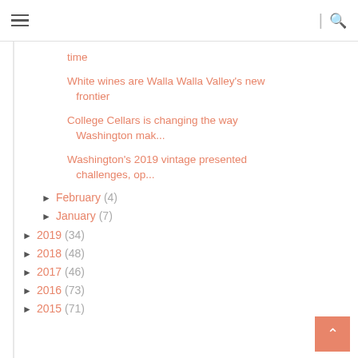navigation header with hamburger menu and search icon
time
White wines are Walla Walla Valley's new frontier
College Cellars is changing the way Washington mak...
Washington's 2019 vintage presented challenges, op...
▶ February (4)
▶ January (7)
▶ 2019 (34)
▶ 2018 (48)
▶ 2017 (46)
▶ 2016 (73)
▶ 2015 (71)